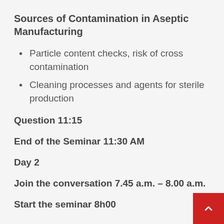Sources of Contamination in Aseptic Manufacturing
Particle content checks, risk of cross contamination
Cleaning processes and agents for sterile production
Question 11:15
End of the Seminar 11:30 AM
Day 2
Join the conversation 7.45 a.m. – 8.00 a.m.
Start the seminar 8h00